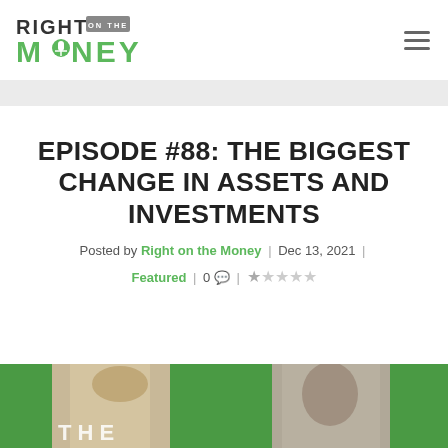[Figure (logo): Right on the Money podcast logo — 'RIGHT' in dark text with 'ON THE' in a gray badge, 'MONEY' in green with a microphone icon]
EPISODE #88: THE BIGGEST CHANGE IN ASSETS AND INVESTMENTS
Posted by Right on the Money | Dec 13, 2021 | Featured | 0 💬 | ★★★★★
[Figure (photo): Bottom image strip showing a green background with two people's photos partially visible, with text overlay]